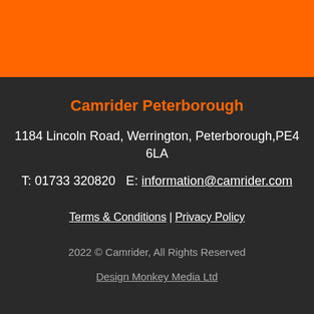[Figure (other): Orange decorative header bar]
Camrider Peterborough
1184 Lincoln Road, Werrington, Peterborough,PE4 6LA
T: 01733 320820   E: information@camrider.com
Terms & Conditions | Privacy Policy
2022 © Camrider, All Rights Reserved
Design Monkey Media Ltd